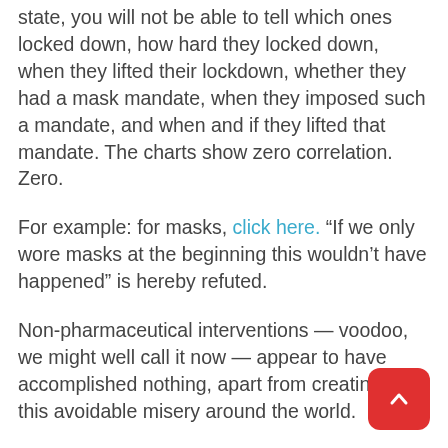state, you will not be able to tell which ones locked down, how hard they locked down, when they lifted their lockdown, whether they had a mask mandate, when they imposed such a mandate, and when and if they lifted that mandate. The charts show zero correlation. Zero.
For example: for masks, click here. “If we only wore masks at the beginning this wouldn’t have happened” is hereby refuted.
Non-pharmaceutical interventions — voodoo, we might well call it now — appear to have accomplished nothing, apart from creating all this avoidable misery around the world.
This is why, instead, you should listen to these professors from Oxford, Harvard, and Stanford.